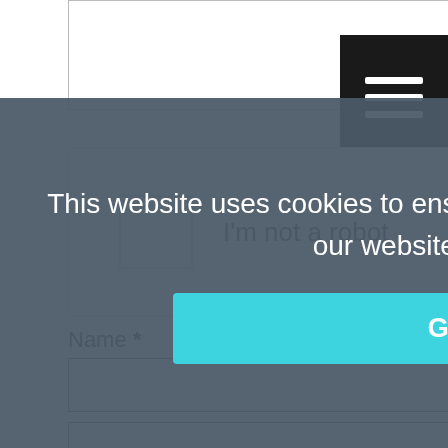[Figure (screenshot): Top portion of a web form with a textarea outlined in gray]
[Figure (screenshot): Hamburger menu button (three white horizontal lines on black background)]
[Figure (screenshot): reCAPTCHA widget showing checkbox, 'I'm not a robot' text, and reCAPTCHA logo with Privacy and Terms links]
Name *
[Figure (screenshot): Name input field (empty text box)]
Email *
[Figure (screenshot): Email input field (empty text box)]
Website
[Figure (screenshot): Website input field (empty text box)]
Save my name, email, and website in this browser for the next time I comment.
Please enter an answer in digits:
This website uses cookies to ensure you get the best experience on our website.  Learn more
[Figure (screenshot): Got it! button (cyan/teal colored button)]